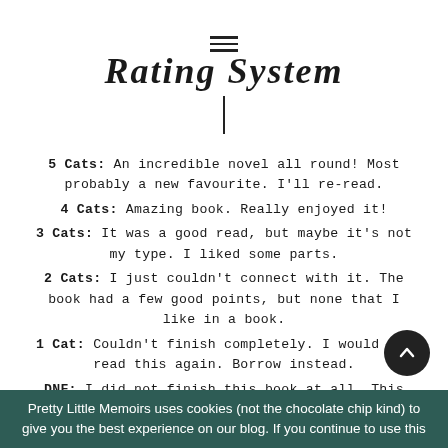≡
Rating System
5 Cats: An incredible novel all round! Most probably a new favourite. I'll re-read.
4 Cats: Amazing book. Really enjoyed it!
3 Cats: It was a good read, but maybe it's not my type. I liked some parts.
2 Cats: I just couldn't connect with it. The book had a few good points, but none that I like in a book.
1 Cat: Couldn't finish completely. I would not read this again. Borrow instead.
DNF: I did not finish this book at all. This book was not for me/had something that I found was unreadabl…
Pretty Little Memoirs uses cookies (not the chocolate chip kind) to give you the best experience on our blog. If you continue to use this